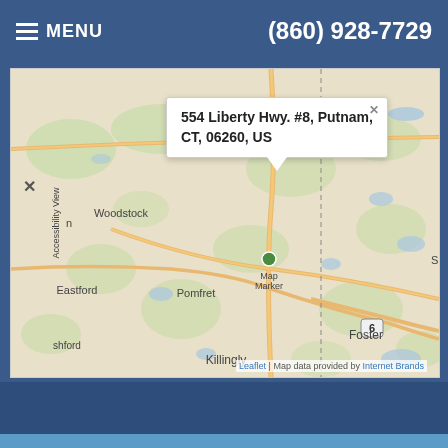MENU | (860) 928-7729
[Figure (map): Leaflet map showing Connecticut/Rhode Island area with location marker at Thompson/Putnam area. Visible towns: Woodstock, Eastford, Pomfret, Killingly, Brooklyn, Chaplin, Thompson, Foster. Popup tooltip shows address: 554 Liberty Hwy. #8, Putnam, CT, 06260, US. Map attribution: Leaflet | Map data provided by Internet Brands.]